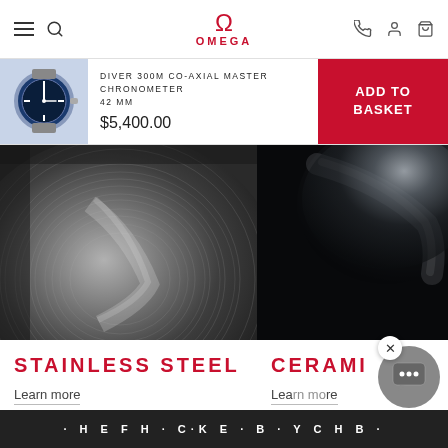OMEGA
DIVER 300M CO-AXIAL MASTER CHRONOMETER 42 MM
$5,400.00
ADD TO BASKET
[Figure (photo): Close-up macro photo of brushed stainless steel surface with circular brushing pattern, dark metallic texture]
[Figure (photo): Close-up macro photo of ceramic material, dark glossy surface with light reflection]
STAINLESS STEEL
Learn more
CERAMI
Learn more